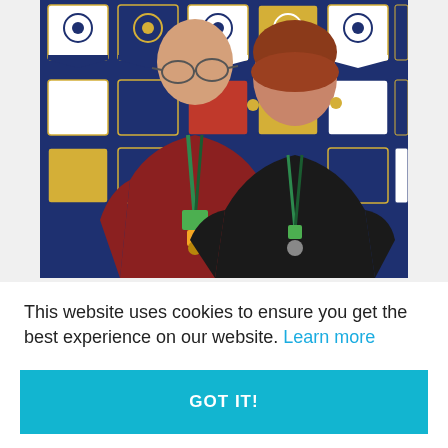[Figure (photo): Two elderly people (a man in a dark red sweater and a woman in a black top) smiling and posing together in front of a wall covered with Rotary club pennants/banners. Both are wearing lanyards with pins and badges.]
This website uses cookies to ensure you get the best experience on our website. Learn more
GOT IT!